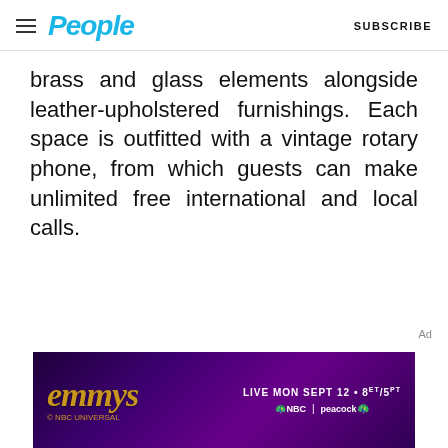People | SUBSCRIBE
brass and glass elements alongside leather-upholstered furnishings. Each space is outfitted with a vintage rotary phone, from which guests can make unlimited free international and local calls.
[Figure (screenshot): Emmy Awards advertisement banner: dark purple/violet background with golden 'emmys' text in italic serif font. Text reads 'LIVE MON SEPT 12 • 8ET/5PT' with NBC and Peacock logos.]